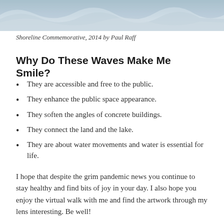[Figure (photo): Top portion of a wave sculpture or shoreline commemorative artwork, showing wave-like concrete or stone forms in blue-grey tones]
Shoreline Commemorative, 2014 by Paul Raff
Why Do These Waves Make Me Smile?
They are accessible and free to the public.
They enhance the public space appearance.
They soften the angles of concrete buildings.
They connect the land and the lake.
They are about water movements and water is essential for life.
I hope that despite the grim pandemic news you continue to stay healthy and find bits of joy in your day. I also hope you enjoy the virtual walk with me and find the artwork through my lens interesting. Be well!